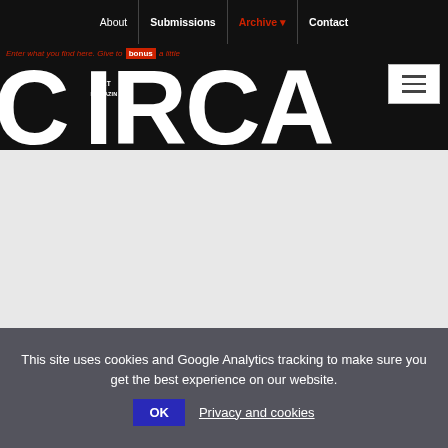About | Submissions | Archive | Contact
[Figure (logo): CIRCA Art Magazine large logo on black background]
Enter what you find here. Give to bonus a little
This site uses cookies and Google Analytics tracking to make sure you get the best experience on our website.
OK   Privacy and cookies